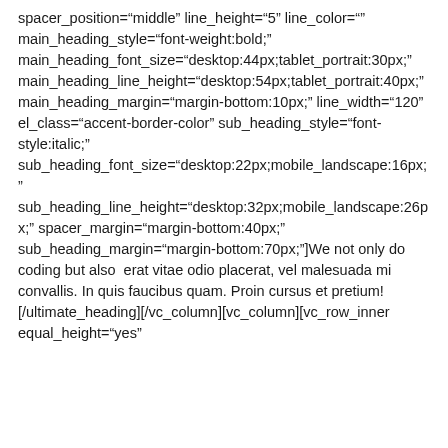spacer_position="middle" line_height="5" line_color="" main_heading_style="font-weight:bold;" main_heading_font_size="desktop:44px;tablet_portrait:30px;" main_heading_line_height="desktop:54px;tablet_portrait:40px;" main_heading_margin="margin-bottom:10px;" line_width="120" el_class="accent-border-color" sub_heading_style="font-style:italic;" sub_heading_font_size="desktop:22px;mobile_landscape:16px;" sub_heading_line_height="desktop:32px;mobile_landscape:26px;" spacer_margin="margin-bottom:40px;" sub_heading_margin="margin-bottom:70px;"]We not only do coding but also  erat vitae odio placerat, vel malesuada mi convallis. In quis faucibus quam. Proin cursus et pretium![/ultimate_heading][/vc_column][vc_column][vc_row_inner equal_height="yes"